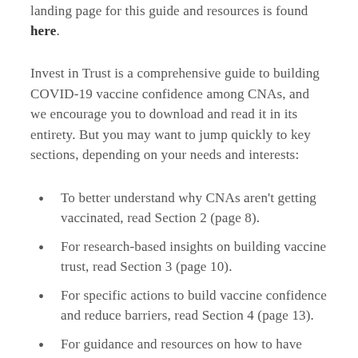landing page for this guide and resources is found here.
Invest in Trust is a comprehensive guide to building COVID-19 vaccine confidence among CNAs, and we encourage you to download and read it in its entirety. But you may want to jump quickly to key sections, depending on your needs and interests:
To better understand why CNAs aren't getting vaccinated, read Section 2 (page 8).
For research-based insights on building vaccine trust, read Section 3 (page 10).
For specific actions to build vaccine confidence and reduce barriers, read Section 4 (page 13).
For guidance and resources on how to have